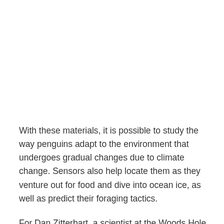With these materials, it is possible to study the way penguins adapt to the environment that undergoes gradual changes due to climate change. Sensors also help locate them as they venture out for food and dive into ocean ice, as well as predict their foraging tactics.
For Dan Zitterbart, a scientist at the Woods Hole Oceanographic Institution, the project helps protect fauna threatened by melting ice and prevent their extinction. And ensuring the survival of penguins is a task that can bring